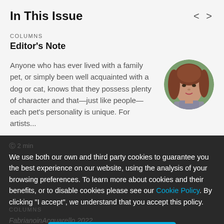In This Issue
COLUMNS
Editor's Note
Anyone who has ever lived with a family pet, or simply been well acquainted with a dog or cat, knows that they possess plenty of character and that—just like people—each pet's personality is unique. For artists...
[Figure (photo): Circular portrait photo of a woman with reddish-brown hair, wearing a grey jacket, photographed outdoors with green foliage background.]
We use both our own and third party cookies to guarantee you the best experience on our website, using the analysis of your browsing preferences. To learn more about cookies and their benefits, or to disable cookies please see our Cookie Policy. By clicking "I accept", we understand that you accept this policy.
I ACCEPT